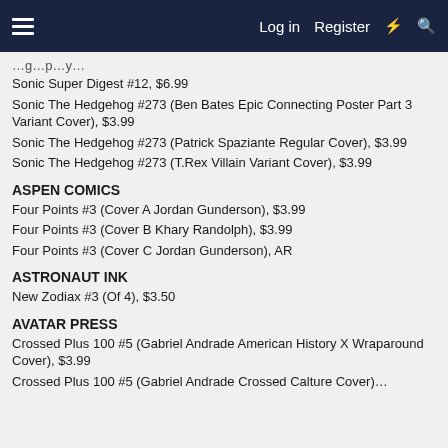☰  Log in  Register  ⚡  🔍
Sonic Super Digest #12, $6.99
Sonic The Hedgehog #273 (Ben Bates Epic Connecting Poster Part 3 Variant Cover), $3.99
Sonic The Hedgehog #273 (Patrick Spaziante Regular Cover), $3.99
Sonic The Hedgehog #273 (T.Rex Villain Variant Cover), $3.99
ASPEN COMICS
Four Points #3 (Cover A Jordan Gunderson), $3.99
Four Points #3 (Cover B Khary Randolph), $3.99
Four Points #3 (Cover C Jordan Gunderson), AR
ASTRONAUT INK
New Zodiax #3 (Of 4), $3.50
AVATAR PRESS
Crossed Plus 100 #5 (Gabriel Andrade American History X Wraparound Cover), $3.99
Crossed Plus 100 #5 (Gabriel Andrade Crossed Calture Cover)…